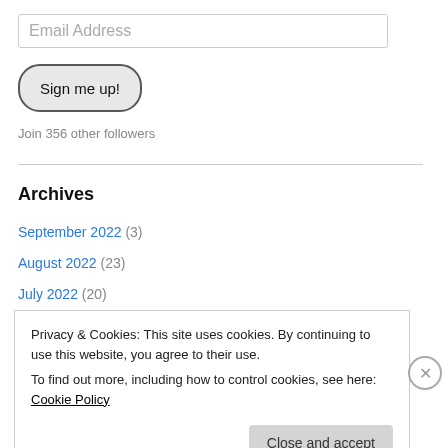Email Address
Sign me up!
Join 356 other followers
Archives
September 2022 (3)
August 2022 (23)
July 2022 (20)
June 2022 (22)
Privacy & Cookies: This site uses cookies. By continuing to use this website, you agree to their use.
To find out more, including how to control cookies, see here: Cookie Policy
Close and accept